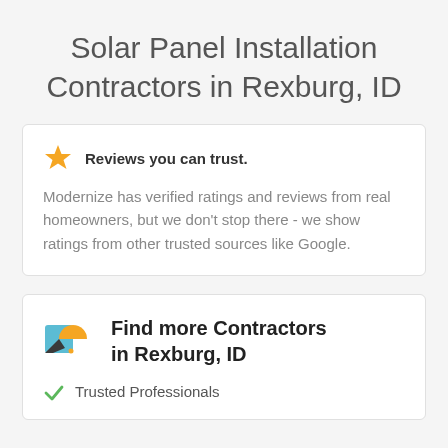Solar Panel Installation Contractors in Rexburg, ID
Reviews you can trust. Modernize has verified ratings and reviews from real homeowners, but we don't stop there - we show ratings from other trusted sources like Google.
Find more Contractors in Rexburg, ID
Trusted Professionals